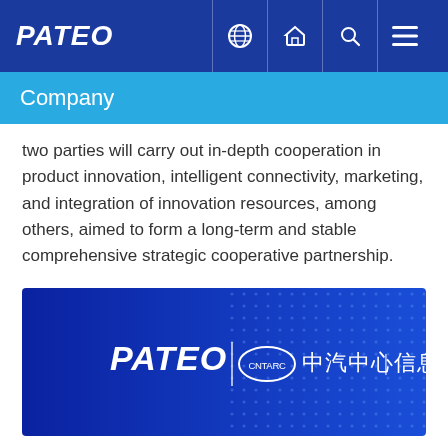PATEO
Company
two parties will carry out in-depth cooperation in product innovation, intelligent connectivity, marketing, and integration of innovation resources, among others, aimed to form a long-term and stable comprehensive strategic cooperative partnership.
[Figure (logo): PATEO and CNTARC 中汽中心 信息科技 logos on blue background with dot pattern]